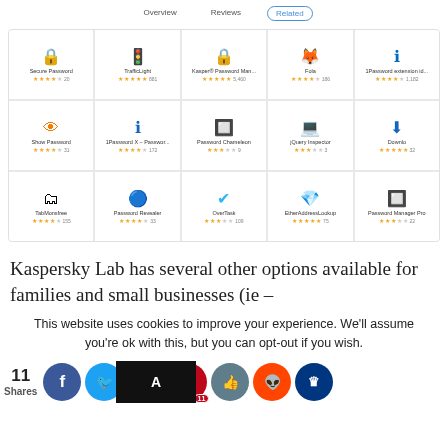Overview | Reviews | Related
[Figure (screenshot): Grid of browser extension cards: Row 1: Secure Password (★★★★☆ 20), TrafficLight (★★★★★ 881), Kasper® Password Man... (★★★★★ 5,460), Fola (★★★★☆ 186), 1Password extension id... (★★★★☆ 1,182). Row 2: Show Password (★★★★☆ 31), 1Password X – Passwor... (★★★★☆ 172), Password Chameleon (★★★☆☆ 9), jQuery Inspector (★★★☆☆ 3), Downlo (★★★★★ 32). Row 3: TabMonsfree (★★★★☆ 155), Password Revealer (★★★★☆ 33), OverTask (★★★☆☆ 109), EtherAddressLookup (★★★★★ 75), Password Manager Pro (★★★☆☆ 22)]
Kaspersky Lab has several other options available for families and small businesses (ie –
This website uses cookies to improve your experience. We'll assume you're ok with this, but you can opt-out if you wish.
11 Shares